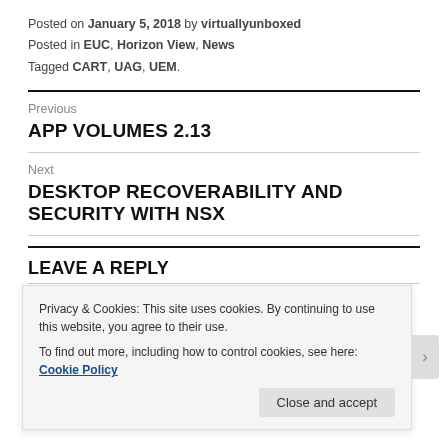Posted on January 5, 2018 by virtuallyunboxed
Posted in EUC, Horizon View, News
Tagged CART, UAG, UEM.
Previous
APP VOLUMES 2.13
Next
DESKTOP RECOVERABILITY AND SECURITY WITH NSX
LEAVE A REPLY
Your email address will not be published.
Privacy & Cookies: This site uses cookies. By continuing to use this website, you agree to their use.
To find out more, including how to control cookies, see here: Cookie Policy
Close and accept